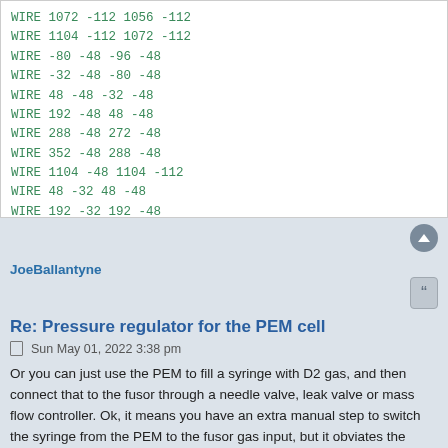WIRE 1072 -112 1056 -112
WIRE 1104 -112 1072 -112
WIRE -80 -48 -96 -48
WIRE -32 -48 -80 -48
WIRE 48 -48 -32 -48
WIRE 192 -48 48 -48
WIRE 288 -48 272 -48
WIRE 352 -48 288 -48
WIRE 1104 -48 1104 -112
WIRE 48 -32 48 -48
WIRE 192 -32 192 -48
WIRE 464 -32 416 -32
JoeBallantyne
Re: Pressure regulator for the PEM cell
Sun May 01, 2022 3:38 pm
Or you can just use the PEM to fill a syringe with D2 gas, and then connect that to the fusor through a needle valve, leak valve or mass flow controller. Ok, it means you have an extra manual step to switch the syringe from the PEM to the fusor gas input, but it obviates the need for your device.
Richard Hull